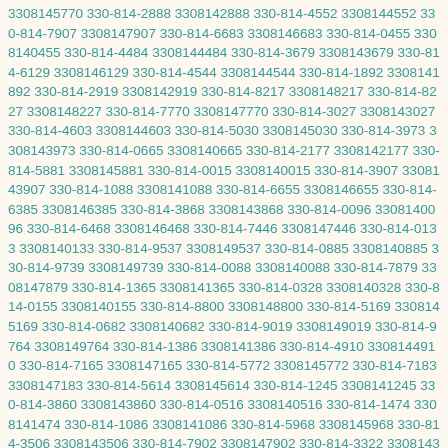3308145770 330-814-2888 3308142888 330-814-4552 3308144552 330-814-7907 3308147907 330-814-6683 3308146683 330-814-0455 3308140455 330-814-4484 3308144484 330-814-3679 3308143679 330-814-6129 3308146129 330-814-4544 3308144544 330-814-1892 3308141892 330-814-2919 3308142919 330-814-8217 3308148217 330-814-8227 3308148227 330-814-7770 3308147770 330-814-3027 3308143027 330-814-4603 3308144603 330-814-5030 3308145030 330-814-3973 3308143973 330-814-0665 3308140665 330-814-2177 3308142177 330-814-5881 3308145881 330-814-0015 3308140015 330-814-3907 3308143907 330-814-1088 3308141088 330-814-6655 3308146655 330-814-6385 3308146385 330-814-3868 3308143868 330-814-0096 3308140096 330-814-6468 3308146468 330-814-7446 3308147446 330-814-0133 3308140133 330-814-9537 3308149537 330-814-0885 3308140885 330-814-9739 3308149739 330-814-0088 3308140088 330-814-7879 3308147879 330-814-1365 3308141365 330-814-0328 3308140328 330-814-0155 3308140155 330-814-8800 3308148800 330-814-5169 3308145169 330-814-0682 3308140682 330-814-9019 3308149019 330-814-9764 3308149764 330-814-1386 3308141386 330-814-4910 3308144910 330-814-7165 3308147165 330-814-5772 3308145772 330-814-7183 3308147183 330-814-5614 3308145614 330-814-1245 3308141245 330-814-3860 3308143860 330-814-0516 3308140516 330-814-1474 3308141474 330-814-1086 3308141086 330-814-5968 3308145968 330-814-3506 3308143506 330-814-7902 3308147902 330-814-3322 3308143322 330-814-1666 3308141666 330-814-6099 3308146099 330-814-5008 3308145008 330-814-9551 3308149551 330-814-6780 3308146780 330-814-0285 3308140285 330-814-6850 3308146850 330-814-9645 3308149645 330-